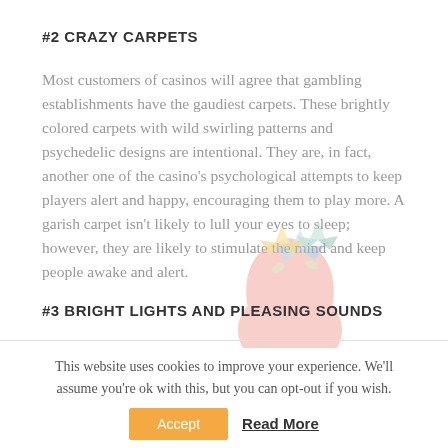#2 CRAZY CARPETS
Most customers of casinos will agree that gambling establishments have the gaudiest carpets. These brightly colored carpets with wild swirling patterns and psychedelic designs are intentional. They are, in fact, another one of the casino’s psychological attempts to keep players alert and happy, encouraging them to play more. A garish carpet isn’t likely to lull your eyes to sleep; however, they are likely to stimulate the mind and keep people awake and alert.
[Figure (illustration): A decorative watermark-style illustration of a human head silhouette (pink) with colorful paper cranes/origami figures emerging from the top, in light pastel colors.]
#3 BRIGHT LIGHTS AND PLEASING SOUNDS
This website uses cookies to improve your experience. We'll assume you're ok with this, but you can opt-out if you wish.
Accept   Read More